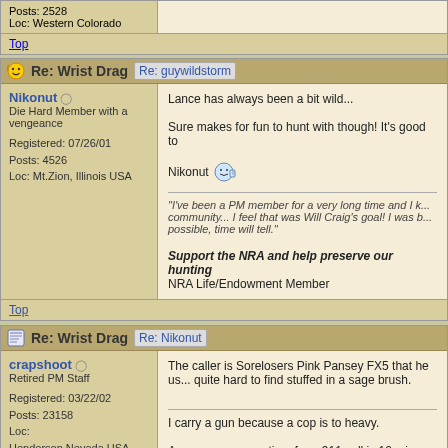Posts: 2528
Loc: Western Colorado
Top
Re: Wrist Drag [Re: guywildstorm]
Nikonut
Die Hard Member with a vengeance
Registered: 07/26/01
Posts: 4526
Loc: Mt.Zion, Illinois USA
Lance has always been a bit wild...

Sure makes for fun to hunt with though! It's good to

Nikonut

"I've been a PM member for a very long time and I k... community... I feel that was Will Craig's goal! I was b... possible, time will tell."

Support the NRA and help preserve our hunting...
NRA Life/Endowment Member
Top
Re: Wrist Drag [Re: Nikonut]
crapshoot
Retired PM Staff
Registered: 03/22/02
Posts: 23158
Loc:
Henderson,Nevada,USA
The caller is Sorelosers Pink Pansey FX5 that he us... quite hard to find stuffed in a sage brush.

I carry a gun because a cop is to heavy.

Average response time for a 911 call is 10 min...